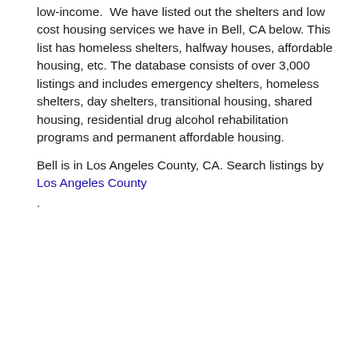low-income.  We have listed out the shelters and low cost housing services we have in Bell, CA below. This list has homeless shelters, halfway houses, affordable housing, etc. The database consists of over 3,000 listings and includes emergency shelters, homeless shelters, day shelters, transitional housing, shared housing, residential drug alcohol rehabilitation programs and permanent affordable housing.
Bell is in Los Angeles County, CA. Search listings by Los Angeles County .